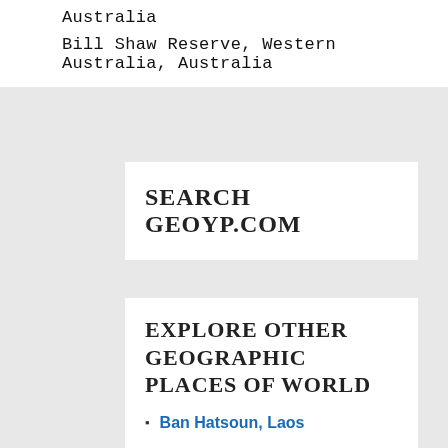Australia
Bill Shaw Reserve, Western Australia, Australia
SEARCH GEOYP.COM
EXPLORE OTHER GEOGRAPHIC PLACES OF WORLD
Ban Hatsoun, Laos
Gidji Well, Western Australia, Australia